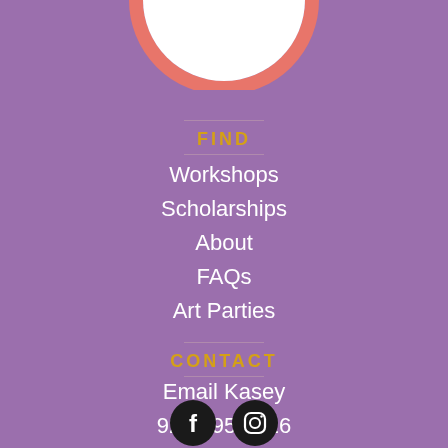[Figure (illustration): Partial circle/logo arc at top center, white fill with salmon/coral border, cropped at top of page]
FIND
Workshops
Scholarships
About
FAQs
Art Parties
CONTACT
Email Kasey
920.495.1216
[Figure (logo): Facebook and Instagram social media icons in black circles at the bottom center]